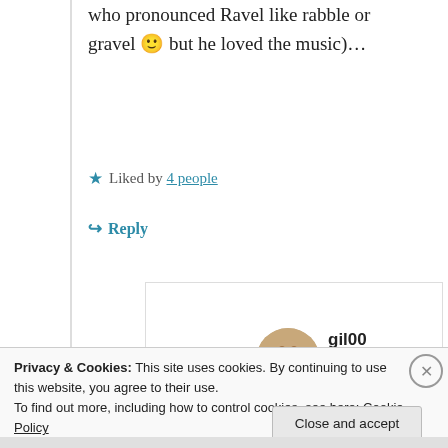who pronounced Ravel like rabble or gravel 🙂 but he loved the music)…
★ Liked by 4 people
↪ Reply
[Figure (photo): Circular avatar image of user gil00 showing a meerkat-like animal]
gil00
09/02/2021 @ 19:48 at 19:48
Privacy & Cookies: This site uses cookies. By continuing to use this website, you agree to their use.
To find out more, including how to control cookies, see here: Cookie Policy
Close and accept